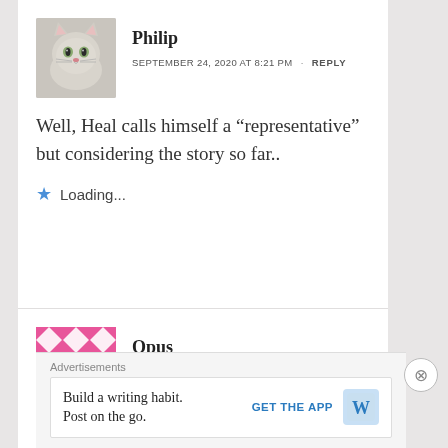[Figure (photo): Avatar photo of a cat (Philip)]
Philip
SEPTEMBER 24, 2020 AT 8:21 PM · REPLY
Well, Heal calls himself a “representative” but considering the story so far..
Loading...
[Figure (illustration): Avatar pattern for Opus - pink geometric tile pattern]
Opus
SEPTEMBER 24, 2020 AT 10:06 PM
· REPLY
Advertisements
Build a writing habit. Post on the go.
GET THE APP